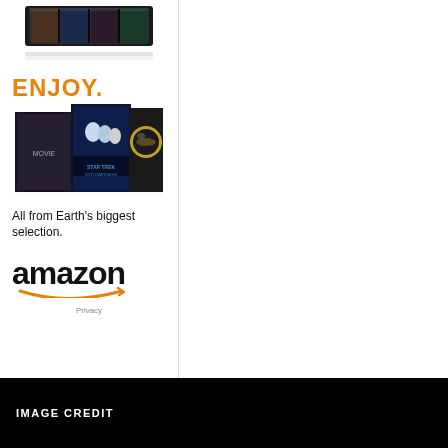[Figure (screenshot): Amazon advertisement showing a Kindle device at top, the word ENJOY in orange, movie cover art collage (including Star Trek Into Darkness and Daft Punk), tagline 'All from Earth's biggest selection.', and the Amazon logo with smile arrow. Privacy text at bottom of ad.]
IMAGE CREDIT